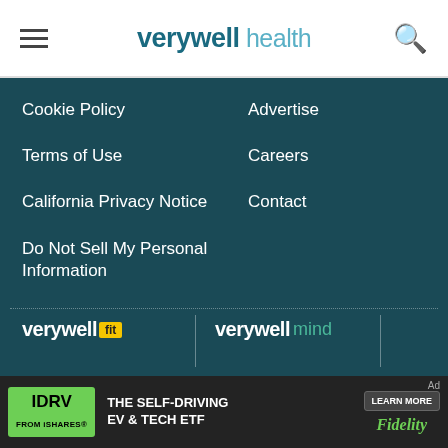verywell health
Cookie Policy
Advertise
Terms of Use
Careers
California Privacy Notice
Contact
Do Not Sell My Personal Information
[Figure (logo): verywell fit logo]
[Figure (logo): verywell mind logo]
[Figure (logo): verywell family logo]
Verywell Health's content is for informational and educational purposes only. Our website is not intended to
[Figure (infographic): IDRV from iShares advertisement: THE SELF-DRIVING EV & TECH ETF LEARN MORE, Fidelity]